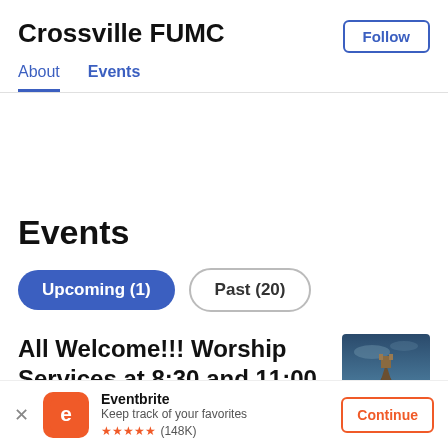Crossville FUMC
About  Events
Events
Upcoming (1)   Past (20)
All Welcome!!! Worship Services at 8:30 and 11:00
[Figure (photo): Thumbnail photo of a castle or rock formation lit dramatically against a dark sky]
Eventbrite
Keep track of your favorites
★★★★★ (148K)